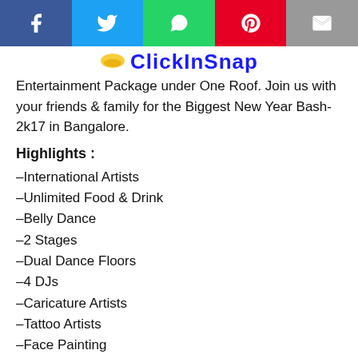[Figure (other): Social media sharing buttons: Facebook (blue), Twitter (light blue), WhatsApp (green), Pinterest (red), Email (grey)]
[Figure (logo): ClickInSnap logo with small icon and blue bold text]
Entertainment Package under One Roof. Join us with your friends & family for the Biggest New Year Bash-2k17 in Bangalore.
Highlights :
–International Artists
–Unlimited Food & Drink
–Belly Dance
–2 Stages
–Dual Dance Floors
–4 DJs
–Caricature Artists
–Tattoo Artists
–Face Painting
–Live Dhol